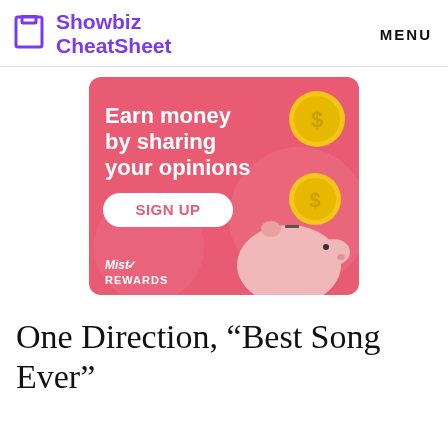Showbiz CheatSheet  MENU
[Figure (infographic): Advertisement banner with pink background. Text reads 'Earn money by sharing your opinions' with a white 'SIGN UP' button and MistRewards branding. Features illustrated gold coins and a cartoon piggy bank.]
One Direction, “Best Song Ever”